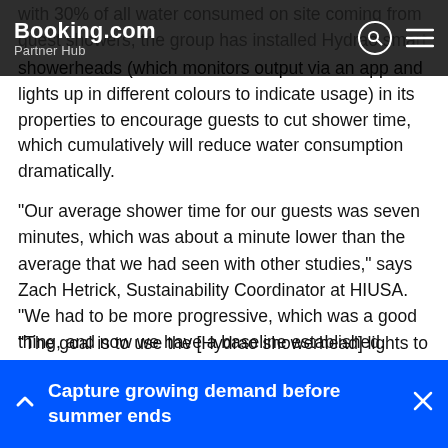Booking.com Partner Hub
with 30% of all water consumed on site coming from guest showers, the group has installed Hydrao smart showerheads (which monitors output via an app and lights up in different colours to indicate usage) in its properties to encourage guests to cut shower time, which cumulatively will reduce water consumption dramatically.
“Our average shower time for our guests was seven minutes, which was about a minute lower than the average that we had seen with other studies,” says Zach Hetrick, Sustainability Coordinator at HIUSA. “We had to be more progressive, which was a good thing, and now we have a baseline established.
“The goal is to use the [Hydrao showerhead] lights to try to get guests to shave an average of 30 seconds off their
Capture growing demand before summer ends